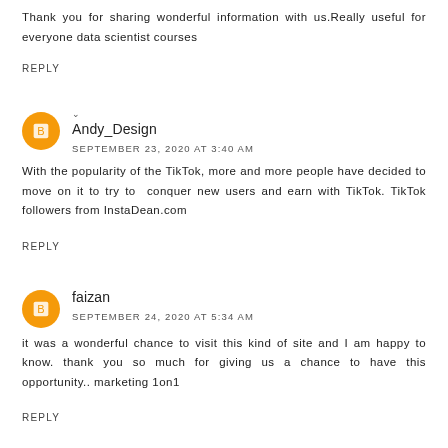Thank you for sharing wonderful information with us.Really useful for everyone data scientist courses
REPLY
Andy_Design
SEPTEMBER 23, 2020 AT 3:40 AM
With the popularity of the TikTok, more and more people have decided to move on it to try to conquer new users and earn with TikTok. TikTok followers from InstaDean.com
REPLY
faizan
SEPTEMBER 24, 2020 AT 5:34 AM
it was a wonderful chance to visit this kind of site and I am happy to know. thank you so much for giving us a chance to have this opportunity.. marketing 1on1
REPLY